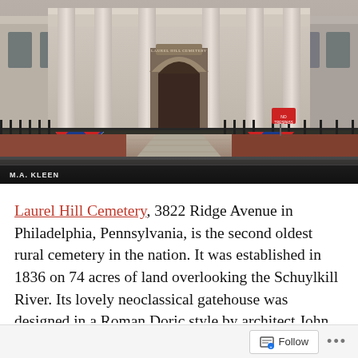[Figure (photo): Photograph of the entrance to Laurel Hill Cemetery at 3822 Ridge Avenue in Philadelphia, Pennsylvania. The image shows a neoclassical gatehouse with tall Roman Doric columns, a stone archway entrance with 'Laurel Hill Cemetery' inscribed above, decorative bunting, a brick pathway, and a road in the foreground. Photo credit: M.A. KLEEN.]
Laurel Hill Cemetery, 3822 Ridge Avenue in Philadelphia, Pennsylvania, is the second oldest rural cemetery in the nation. It was established in 1836 on 74 acres of land overlooking the Schuylkill River. Its lovely neoclassical gatehouse was designed in a Roman Doric style by architect John Notman (1810-1865). Laurel